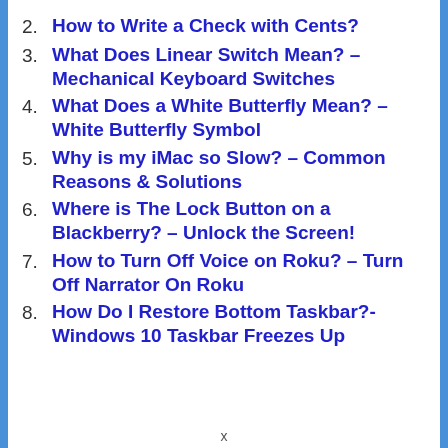2. How to Write a Check with Cents?
3. What Does Linear Switch Mean? – Mechanical Keyboard Switches
4. What Does a White Butterfly Mean? – White Butterfly Symbol
5. Why is my iMac so Slow? – Common Reasons & Solutions
6. Where is The Lock Button on a Blackberry? – Unlock the Screen!
7. How to Turn Off Voice on Roku? – Turn Off Narrator On Roku
8. How Do I Restore Bottom Taskbar?- Windows 10 Taskbar Freezes Up